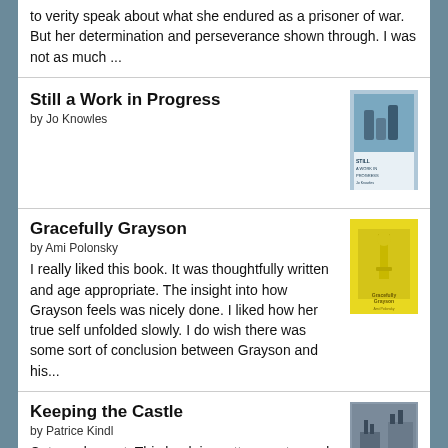to verity speak about what she endured as a prisoner of war. But her determination and perseverance shown through. I was not as much ...
Still a Work in Progress
by Jo Knowles
[Figure (photo): Book cover for Still a Work in Progress by Jo Knowles]
Gracefully Grayson
by Ami Polonsky
I really liked this book. It was thoughtfully written and age appropriate. The insight into how Grayson feels was nicely done. I liked how her true self unfolded slowly. I do wish there was some sort of conclusion between Grayson and his...
[Figure (photo): Book cover for Gracefully Grayson by Ami Polonsky - yellow cover]
Keeping the Castle
by Patrice Kindl
Cute and sweet. This book is pretty easy to read with Jane Austen influences. There isn't anything too deep and it is pretty predictable. Regardless, it is a fun and easy read.
[Figure (photo): Book cover for Keeping the Castle by Patrice Kindl]
Fox Forever
by Mary E. Pearson
I couldn't put it down. I love the way Mary E. Pearson writes and the world she created in this series. This book is thought provoking and intense. Death is something many of us have trouble